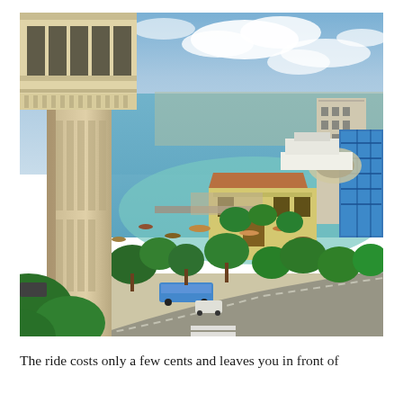[Figure (photo): Aerial view of Salvador, Brazil, showing the Lacerda Elevator tower in the foreground on the left, with the harbor, boats, turquoise water, historic buildings, palm trees, and the bay of All Saints in the background under a partly cloudy sky.]
The ride costs only a few cents and leaves you in front of